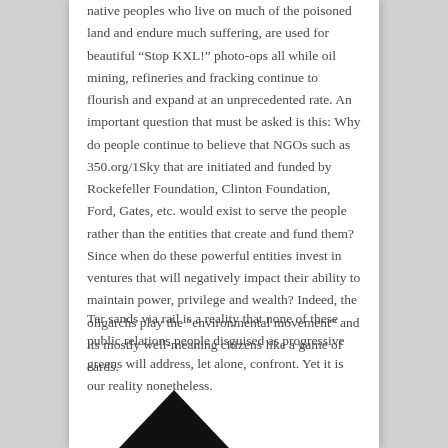native peoples who live on much of the poisoned land and endure much suffering, are used for beautiful “Stop KXL!” photo-ops all while oil mining, refineries and fracking continue to flourish and expand at an unprecedented rate. An important question that must be asked is this: Why do people continue to believe that NGOs such as 350.org/1Sky that are initiated and funded by Rockefeller Foundation, Clinton Foundation, Ford, Gates, etc. would exist to serve the people rather than the entities that create and fund them? Since when do these powerful entities invest in ventures that will negatively impact their ability to maintain power, privilege and wealth? Indeed, the oligarchs play the “environmental movement” and its mostly well-meaning citizens like a game of cards.
Tar sands via rail is a reality that none of these public relations people disguised as progressive greens will address, let alone, confront. Yet it is our reality nonetheless.
[Figure (illustration): A black triangle/arrow shape pointing upward, resembling a spade or arrowhead symbol]